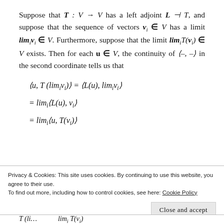Suppose that T : V → V has a left adjoint L ⊣ T, and suppose that the sequence of vectors vᵢ ∈ V has a limit limᵢvᵢ ∈ V. Furthermore, suppose that the limit limᵢT(vᵢ) ∈ V exists. Then for each u ∈ V, the continuity of ⟨-, -⟩ in the second coordinate tells us that
Privacy & Cookies: This site uses cookies. By continuing to use this website, you agree to their use.
To find out more, including how to control cookies, see here: Cookie Policy
Close and accept
T (li...